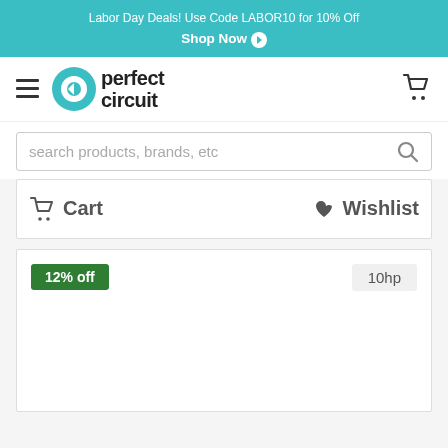Labor Day Deals! Use Code LABOR10 for 10% Off Shop Now ❯
[Figure (logo): Perfect Circuit logo with hamburger menu and cart icon]
search products, brands, etc
Cart   Wishlist
12% off
10hp